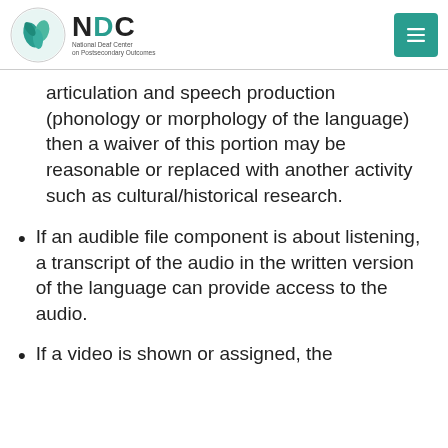NDC National Deaf Center on Postsecondary Outcomes
articulation and speech production (phonology or morphology of the language) then a waiver of this portion may be reasonable or replaced with another activity such as cultural/historical research.
If an audible file component is about listening, a transcript of the audio in the written version of the language can provide access to the audio.
If a video is shown or assigned, the